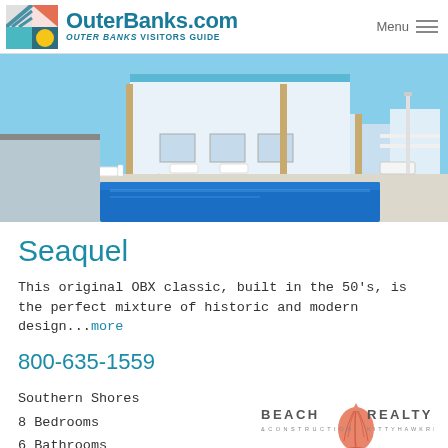OuterBanks.com Visitors Guide — Menu
[Figure (photo): Exterior of a beach house rental called Seaquel, showing a blue swimming pool in the foreground with white lounge chairs, wooden staircase, deck, and clear blue sky.]
Seaquel
This original OBX classic, built in the 50's, is the perfect mixture of historic and modern design...more
800-635-1559
Southern Shores
8 Bedrooms
6 Bathrooms
[Figure (logo): Beach Realty & Construction - Kitty Hawk Rentals logo with a coral/salmon colored seashell icon]